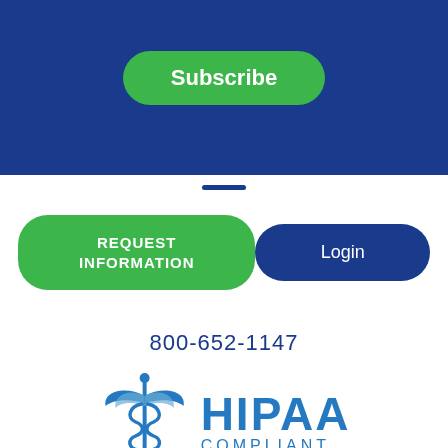[Figure (screenshot): Blue banner with green Subscribe button]
[Figure (screenshot): Green REQUEST INFORMATION button and dark blue Login button side by side]
800-652-1147
[Figure (logo): HIPAA Compliant logo with caduceus medical symbol in blue, with text HIPAA COMPLIANT]